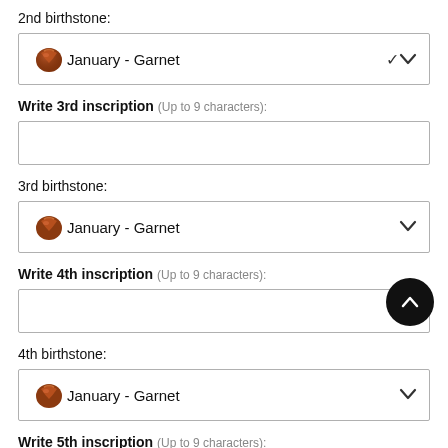2nd birthstone:
[Figure (other): Dropdown selector showing January - Garnet with garnet gem icon and chevron]
Write 3rd inscription (Up to 9 characters):
[Figure (other): Empty text input box]
3rd birthstone:
[Figure (other): Dropdown selector showing January - Garnet with garnet gem icon and chevron]
Write 4th inscription (Up to 9 characters):
[Figure (other): Empty text input box]
4th birthstone:
[Figure (other): Dropdown selector showing January - Garnet with garnet gem icon and chevron]
Write 5th inscription (Up to 9 characters):
[Figure (other): Empty text input box (partially visible at bottom)]